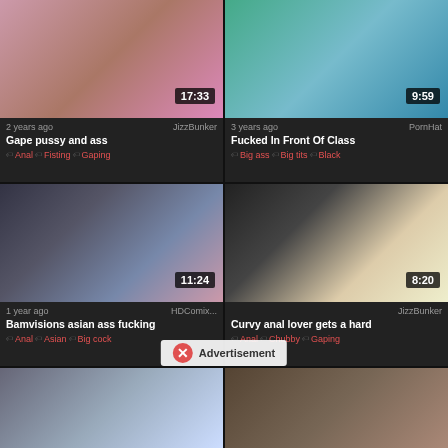[Figure (screenshot): Video thumbnail grid showing adult content video listings with thumbnails, durations, ages, sources, titles and tags]
2 years ago | JizzBunker | Gape pussy and ass | Anal | Fisting | Gaping | 17:33
3 years ago | PornHat | Fucked In Front Of Class | Big ass | Big tits | Black | 9:59
1 year ago | HDComix... | Bamvisions asian ass fucking | Anal | Asian | Big cock | 11:24
JizzBunker | Curvy anal lover gets a hard | Anal | Chubby | Gaping | 8:20
Advertisement